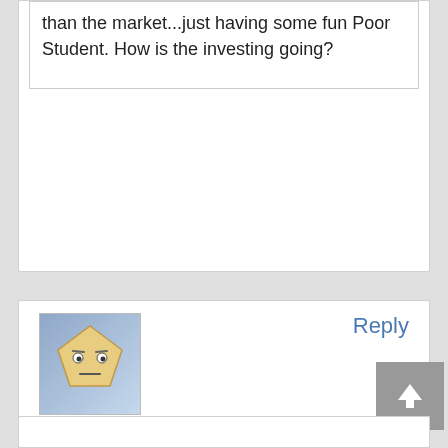than the market...just having some fun Poor Student. How is the investing going?
[Figure (illustration): Avatar icon of a cartoon pentagon-shaped face with neutral expression, on a blue-gray gradient background]
Reply
kolpin
September 9, 2014 at 12:45 am · Edit
Barron's runs a prediction game every December. it's always fun to see how many you get right!
For #17, I predicted 18,150!
http://online.barrons.com/news/articles/SB